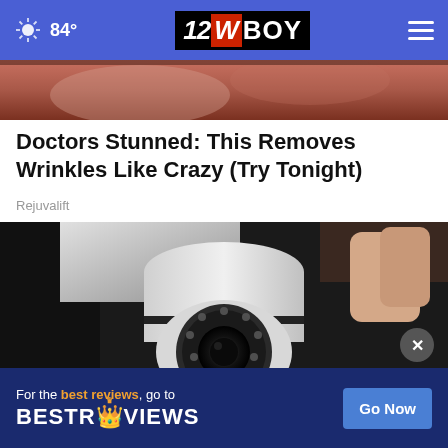84° | 12WBOY
[Figure (photo): Top portion of an image, reddish-brown textured background (partial view cut off at top)]
Doctors Stunned: This Removes Wrinkles Like Crazy (Try Tonight)
Rejuvalift
[Figure (photo): A person holding a white security camera with a round lens and IR LEDs, close-up shot]
[Figure (screenshot): BestReviews advertisement banner: 'For the best reviews, go to BESTREVIEWS' with a 'Go Now' button]